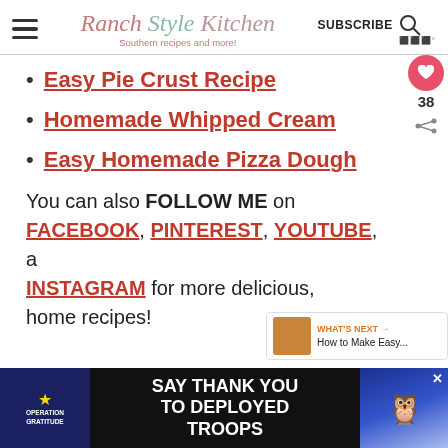Ranch Style Kitchen — Southern recipes and more! | SUBSCRIBE
Easy Pie Crust Recipe
Homemade Whipped Cream
Easy Homemade Pizza Dough
You can also FOLLOW ME on FACEBOOK, PINTEREST, YOUTUBE, and INSTAGRAM for more delicious, home recipes!
[Figure (screenshot): Operation Gratitude advertisement: Say Thank You To Deployed Troops]
SAY THANK YOU TO DEPLOYED TROOPS — Operation Gratitude advertisement